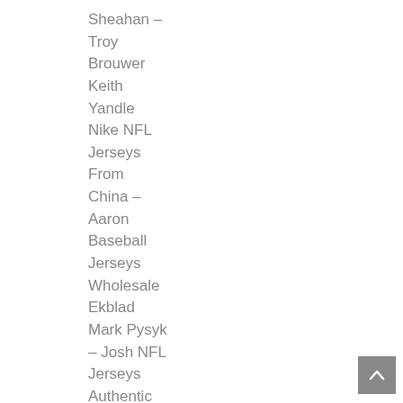Sheahan – Troy Brouwer Keith Yandle Nike NFL Jerseys From China – Aaron Baseball Jerseys Wholesale Ekblad Mark Pysyk – Josh NFL Jerseys Authentic Brown MacKenzie Weegar – Brady
[Figure (other): Back-to-top button with upward arrow chevron on gray background]